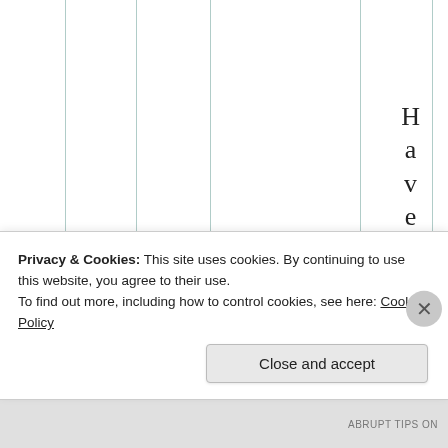1
[Figure (other): Background grid with vertical lines and rotated vertical text reading 'Have you go' (partially visible), displayed character by character in a column on the right side of the grid area.]
Privacy & Cookies: This site uses cookies. By continuing to use this website, you agree to their use.
To find out more, including how to control cookies, see here: Cookie Policy
Close and accept